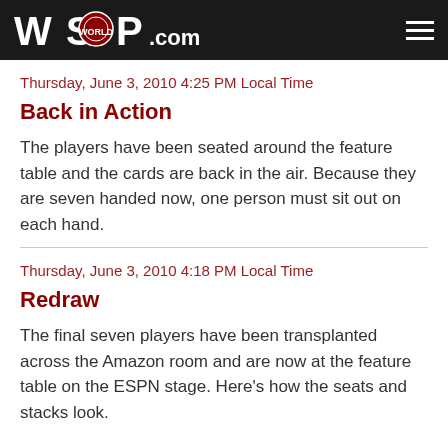WSOP.COM
Thursday, June 3, 2010 4:25 PM Local Time
Back in Action
The players have been seated around the feature table and the cards are back in the air. Because they are seven handed now, one person must sit out on each hand.
Thursday, June 3, 2010 4:18 PM Local Time
Redraw
The final seven players have been transplanted across the Amazon room and are now at the feature table on the ESPN stage. Here's how the seats and stacks look.